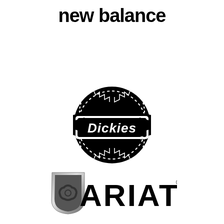[Figure (logo): New Balance logo in black text, stylized lowercase letters 'new balance']
[Figure (logo): Dickies logo: black circular emblem with white text 'Dickies' in a banner/shield shape in the center, decorative ring with notches]
[Figure (logo): Ariat logo: grey shield icon with biohazard-like symbol on left, bold black text 'ARIAT' with registered trademark symbol on right]